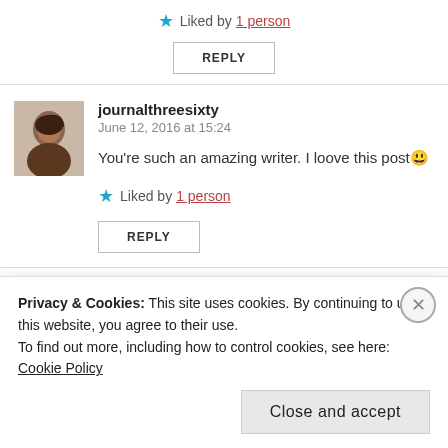★ Liked by 1 person
REPLY
journalthreesixty
June 12, 2016 at 15:24
You're such an amazing writer. I loove this post😊
★ Liked by 1 person
REPLY
Nodoux
Privacy & Cookies: This site uses cookies. By continuing to use this website, you agree to their use.
To find out more, including how to control cookies, see here: Cookie Policy
Close and accept